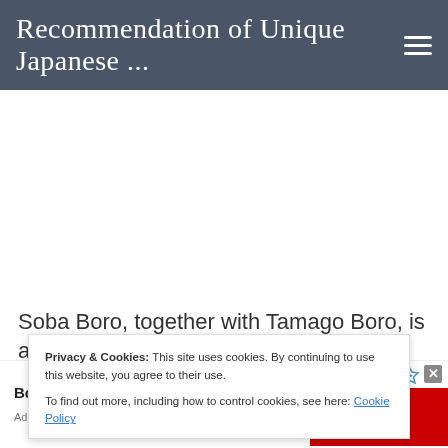Recommendation of Unique Japanese ...
[Figure (other): White advertisement/blank space area below header]
Soba Boro, together with Tamago Boro, is a
Privacy & Cookies: This site uses cookies. By continuing to use this website, you agree to their use.
To find out more, including how to control cookies, see here: Cookie Policy
Book A Demo Today
Ad
Open